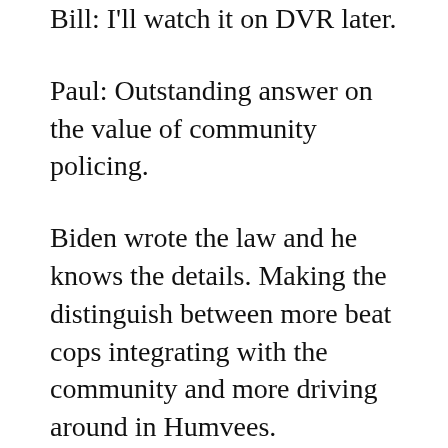Bill: I'll watch it on DVR later.
Paul: Outstanding answer on the value of community policing.
Biden wrote the law and he knows the details. Making the distinguish between more beat cops integrating with the community and more driving around in Humvees.
8:22–8:29
George: Now Trump is railing against vote by mail. Thousands of ballots with my name have been dumped in dumpsters [there's no evidence of that, at all]. He's so wound up. He's going to